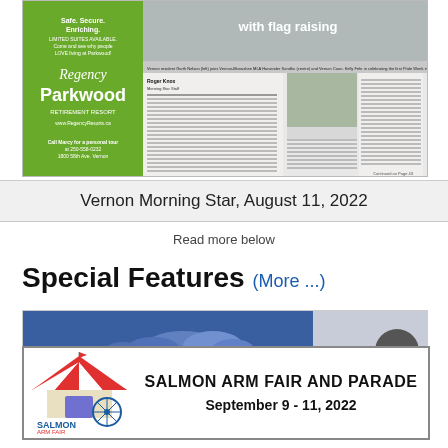[Figure (screenshot): Newspaper clipping from Vernon Morning Star showing article about Pride Week flag raising at Vernon City Hall, with a Regency Parkwood Retirement Resort advertisement on the left side.]
Vernon Morning Star, August 11, 2022
Read more below
Special Features  (More ...)
[Figure (screenshot): Partial view of a Special Features advertisement with blue header and cloud graphics.]
[Figure (other): Advertisement for Salmon Arm Fair and Parade, September 9 - 11, 2022, with carnival tent logo on the left.]